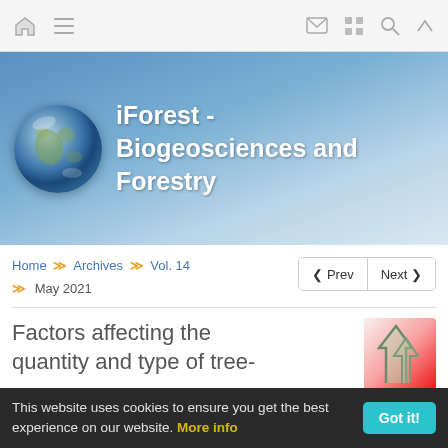Navigation bar with home, menu, mail, grid, search, up icons
[Figure (illustration): iForest - Biogeosciences and Forestry banner with globe image and gradient blue background]
iForest - Biogeosciences and Forestry
Home >> Archives >> Vol. 14 >> May 2021
Factors affecting the quantity and type of tree-
[Figure (illustration): Article thumbnail image showing stylized tree/graph on red gradient background]
This website uses cookies to ensure you get the best experience on our website. More info